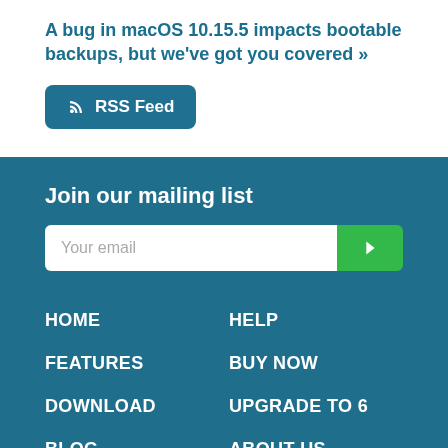A bug in macOS 10.15.5 impacts bootable backups, but we've got you covered »
[Figure (other): RSS Feed button with RSS icon]
Join our mailing list
[Figure (other): Email signup form with Your email input and green submit arrow button]
HOME
HELP
FEATURES
BUY NOW
DOWNLOAD
UPGRADE TO 6
BLOG
ABOUT US